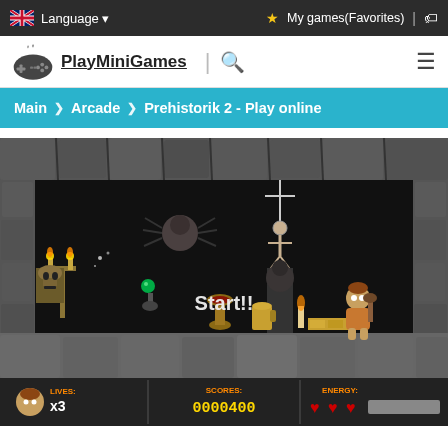Language ▾   ★ My games(Favorites) | 🏷
PlayMiniGames
Main > Arcade > Prehistorik 2 - Play online
[Figure (screenshot): Prehistorik 2 game screenshot showing a cave platformer scene with stone walls, a caveman character, enemies, and a 'Start!!' message. Bottom HUD shows LIVES: x3, SCORES: 0000400, ENERGY: three hearts.]